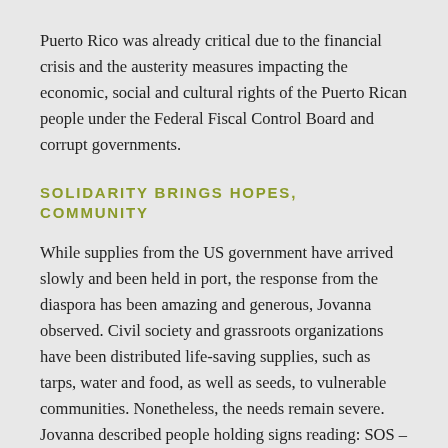Puerto Rico was already critical due to the financial crisis and the austerity measures impacting the economic, social and cultural rights of the Puerto Rican people under the Federal Fiscal Control Board and corrupt governments.
SOLIDARITY BRINGS HOPES, COMMUNITY
While supplies from the US government have arrived slowly and been held in port, the response from the diaspora has been amazing and generous, Jovanna observed. Civil society and grassroots organizations have been distributed life-saving supplies, such as tarps, water and food, as well as seeds, to vulnerable communities. Nonetheless, the needs remain severe. Jovanna described people holding signs reading: SOS – Need Water and Food.